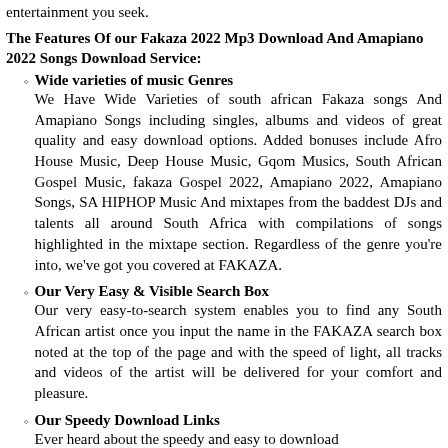entertainment you seek.
The Features Of our Fakaza 2022 Mp3 Download And Amapiano 2022 Songs Download Service:
Wide varieties of music Genres
We Have Wide Varieties of south african Fakaza songs And Amapiano Songs including singles, albums and videos of great quality and easy download options. Added bonuses include Afro House Music, Deep House Music, Gqom Musics, South African Gospel Music, fakaza Gospel 2022, Amapiano 2022, Amapiano Songs, SA HIPHOP Music And mixtapes from the baddest DJs and talents all around South Africa with compilations of songs highlighted in the mixtape section. Regardless of the genre you're into, we've got you covered at FAKAZA.
Our Very Easy & Visible Search Box
Our very easy-to-search system enables you to find any South African artist once you input the name in the FAKAZA search box noted at the top of the page and with the speed of light, all tracks and videos of the artist will be delivered for your comfort and pleasure.
Our Speedy Download Links
Ever heard about the speedy and easy to download